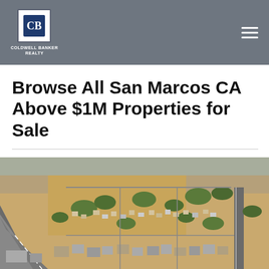Coldwell Banker Realty
Browse All San Marcos CA Above $1M Properties for Sale
[Figure (photo): Aerial view of San Marcos CA residential neighborhood showing houses, streets, a highway, and open land from above]